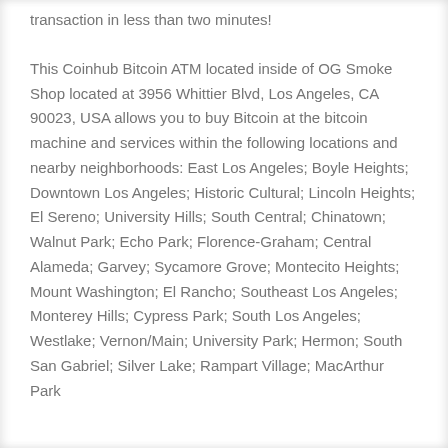transaction in less than two minutes!
This Coinhub Bitcoin ATM located inside of OG Smoke Shop located at 3956 Whittier Blvd, Los Angeles, CA 90023, USA allows you to buy Bitcoin at the bitcoin machine and services within the following locations and nearby neighborhoods: East Los Angeles; Boyle Heights; Downtown Los Angeles; Historic Cultural; Lincoln Heights; El Sereno; University Hills; South Central; Chinatown; Walnut Park; Echo Park; Florence-Graham; Central Alameda; Garvey; Sycamore Grove; Montecito Heights; Mount Washington; El Rancho; Southeast Los Angeles; Monterey Hills; Cypress Park; South Los Angeles; Westlake; Vernon/Main; University Park; Hermon; South San Gabriel; Silver Lake; Rampart Village; MacArthur Park